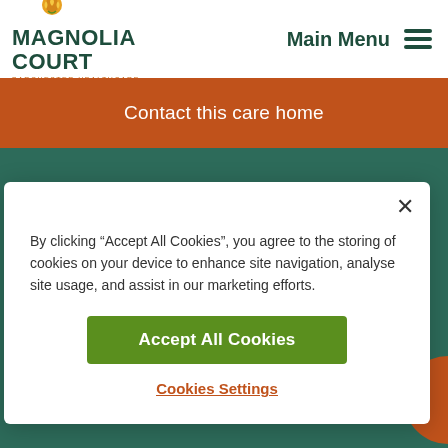[Figure (logo): Magnolia Court logo with flower icon and Barchester Healthcare text]
Main Menu
Contact this care home
By clicking “Accept All Cookies”, you agree to the storing of cookies on your device to enhance site navigation, analyse site usage, and assist in our marketing efforts.
Accept All Cookies
Cookies Settings